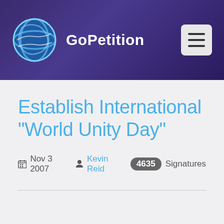GoPetition
Establish International "World Unity Day"
Nov 3 2007  Kevin Reid  4635 Signatures